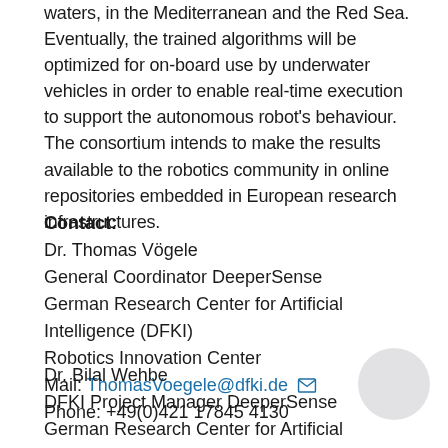waters, in the Mediterranean and the Red Sea. Eventually, the trained algorithms will be optimized for on-board use by underwater vehicles in order to enable real-time execution to support the autonomous robot's behaviour. The consortium intends to make the results available to the robotics community in online repositories embedded in European research infrastructures.
Contact:
Dr. Thomas Vögele
General Coordinator DeeperSense
German Research Center for Artificial Intelligence (DFKI)
Robotics Innovation Center
Mail: ThomasVoegele@dfki.de
Phone: +49(0)421 17845 4130
Dr. Bilal Wehbe
DFKI Project Manager DeeperSense
German Research Center for Artificial Intelligence (DFKI)
Robotics Innovation Center